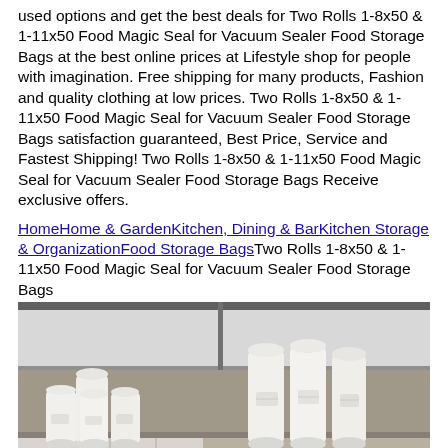used options and get the best deals for Two Rolls 1-8x50 & 1-11x50 Food Magic Seal for Vacuum Sealer Food Storage Bags at the best online prices at Lifestyle shop for people with imagination. Free shipping for many products, Fashion and quality clothing at low prices. Two Rolls 1-8x50 & 1-11x50 Food Magic Seal for Vacuum Sealer Food Storage Bags satisfaction guaranteed, Best Price, Service and Fastest Shipping! Two Rolls 1-8x50 & 1-11x50 Food Magic Seal for Vacuum Sealer Food Storage Bags Receive exclusive offers.
HomeHome & GardenKitchen, Dining & BarKitchen Storage & OrganizationFood Storage BagsTwo Rolls 1-8x50 & 1-11x50 Food Magic Seal for Vacuum Sealer Food Storage Bags
[Figure (photo): Photo of multiple rolls of vacuum sealer food storage bags arranged on a tiled and wooden floor surface, with a mirror/glass panel in the background. Several cylindrical rolls of varying sizes are visible, along with flat bag sheets in the foreground.]